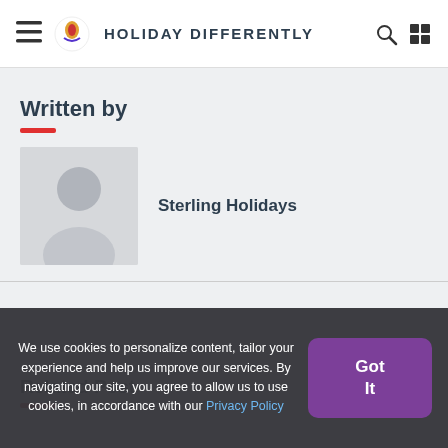Sterling Holidays — HOLIDAY DIFFERENTLY
Written by
[Figure (photo): Generic user avatar silhouette placeholder image]
Sterling Holidays
Related Post
We use cookies to personalize content, tailor your experience and help us improve our services. By navigating our site, you agree to allow us to use cookies, in accordance with our Privacy Policy
Got It